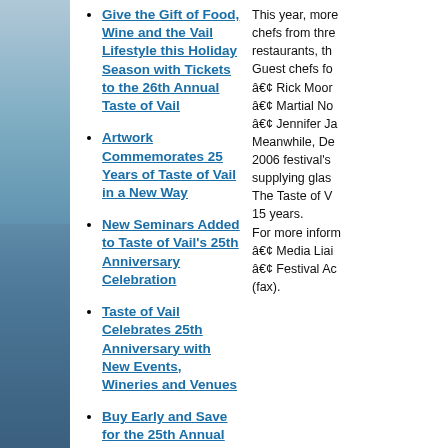[Figure (photo): Blue-toned decorative food/drink photo on left side background]
Give the Gift of Food, Wine and the Vail Lifestyle this Holiday Season with Tickets to the 26th Annual Taste of Vail
Artwork Commemorates 25 Years of Taste of Vail in a New Way
New Seminars Added to Taste of Vail's 25th Anniversary Celebration
Taste of Vail Celebrates 25th Anniversary with New Events, Wineries and Venues
Buy Early and Save for the 25th Annual Taste of Vail Food and Wine Festival
Taste of Vail Celebrates 25 Years with a New Grand Tasting Venue and Dozens of Wineries Committed for Spring Event
Taste of Vail Announces New Rosé Event to Kick Off 24th Annual Spring Food and Wine Festival
Artwork Revealed to Commemorate the 24th Annual Taste of Vail Food and Wine Festival
This year, more chefs from three restaurants, the Guest chefs fo • Rick Moor • Martial No • Jennifer Ja Meanwhile, De 2006 festival's supplying glas The Taste of V 15 years. For more inform • Media Liai • Festival Ac (fax).